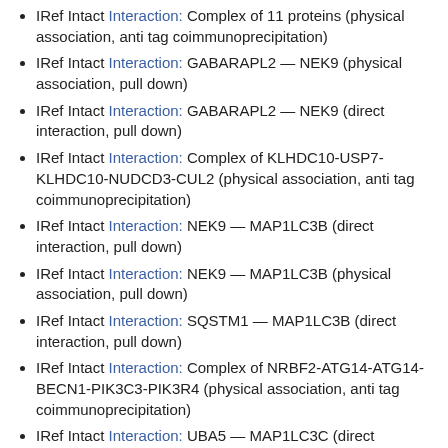IRef Intact Interaction: Complex of 11 proteins (physical association, anti tag coimmunoprecipitation)
IRef Intact Interaction: GABARAPL2 — NEK9 (physical association, pull down)
IRef Intact Interaction: GABARAPL2 — NEK9 (direct interaction, pull down)
IRef Intact Interaction: Complex of KLHDC10-USP7-KLHDC10-NUDCD3-CUL2 (physical association, anti tag coimmunoprecipitation)
IRef Intact Interaction: NEK9 — MAP1LC3B (direct interaction, pull down)
IRef Intact Interaction: NEK9 — MAP1LC3B (physical association, pull down)
IRef Intact Interaction: SQSTM1 — MAP1LC3B (direct interaction, pull down)
IRef Intact Interaction: Complex of NRBF2-ATG14-ATG14-BECN1-PIK3C3-PIK3R4 (physical association, anti tag coimmunoprecipitation)
IRef Intact Interaction: UBA5 — MAP1LC3C (direct interaction, pull down)
IRef Intact Interaction: UBA5 — MAP1LC3C (physical association, pull down)
IRef Intact Interaction: DYX1C1 — GABARAPL2 (direct